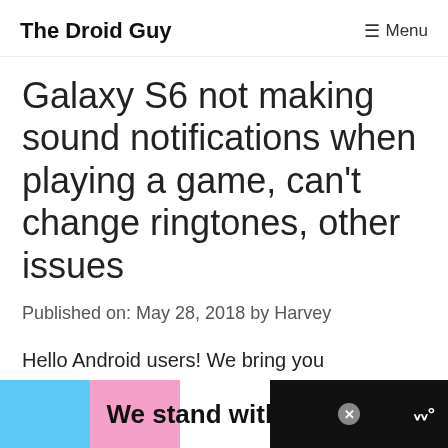The Droid Guy   ☰ Menu
Galaxy S6 not making sound notifications when playing a game, can't change ringtones, other issues
Published on: May 28, 2018 by Harvey
Hello Android users! We bring you another #GalaxyS6 troubleshooting post
[Figure (infographic): Advertisement banner: 'We stand with you.' on colorful stripes (blue, pink, white) over dark background with close button and logo]